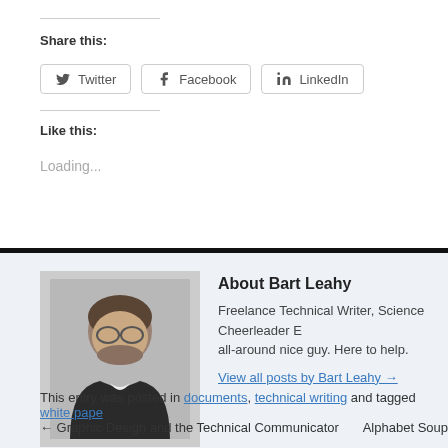Share this:
Twitter   Facebook   LinkedIn
Like this:
Loading...
About Bart Leahy
[Figure (photo): Headshot photo of Bart Leahy, a middle-aged man with glasses and a smile]
Freelance Technical Writer, Science Cheerleader E all-around nice guy. Here to help.
View all posts by Bart Leahy →
This entry was posted in documents, technical writing and tagged white pape
← Graphic Design and the Technical Communicator   Alphabet Soup